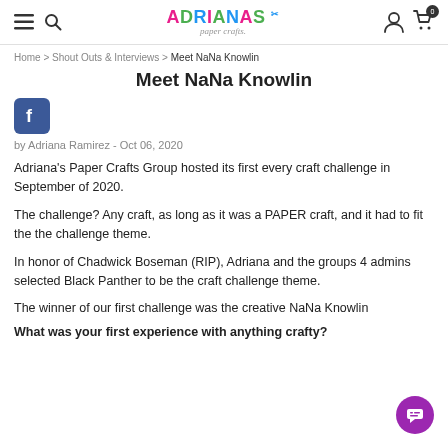Adrianas Paper Crafts – navigation header with logo, hamburger menu, search, user and cart icons
Home > Shout Outs & Interviews > Meet NaNa Knowlin
Meet NaNa Knowlin
[Figure (logo): Facebook share icon button]
by Adriana Ramirez - Oct 06, 2020
Adriana's Paper Crafts Group hosted its first every craft challenge in September of 2020.
The challenge? Any craft, as long as it was a PAPER craft, and it had to fit the the challenge theme.
In honor of Chadwick Boseman (RIP), Adriana and the groups 4 admins selected Black Panther to be the craft challenge theme.
The winner of our first challenge was the creative NaNa Knowlin
What was your first experience with anything crafty?